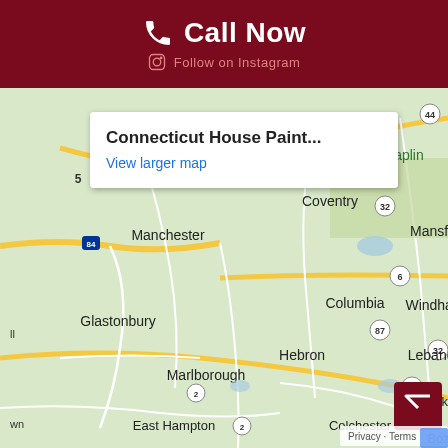Call Now
Follow on Instagram
[Figure (map): Google Maps screenshot showing Connecticut region with towns: Manchester, Coventry, Mansfield, Chaplin, Columbia, Windham, Glastonbury, Hebron, Marlborough, Lebanon, Franklin, East Hampton, Colchester, Bozrah, and road numbers 44, 84, 32, 6, 87, 2, 207. A popup shows 'Connecticut House Paint... View larger map'.]